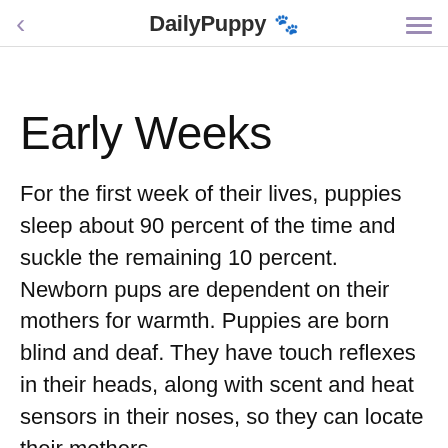DailyPuppy 🐾
Early Weeks
For the first week of their lives, puppies sleep about 90 percent of the time and suckle the remaining 10 percent. Newborn pups are dependent on their mothers for warmth. Puppies are born blind and deaf. They have touch reflexes in their heads, along with scent and heat sensors in their noses, so they can locate their mothers